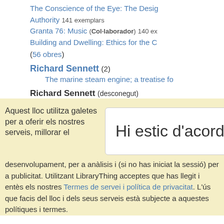The Conscience of the Eye: The Design and Social Life of Cities — Authority 141 exemplars
Granta 76: Music (Col·laborador) 140 ex
Building and Dwelling: Ethics for the City
(56 obres)
Richard Sennett (2)
The marine steam engine; a treatise fo
Richard Sennett (desconegut)
Aquest lloc utilitza galetes per a oferir els nostres serveis, millorar el
desenvolupament, per a anàlisis i (si no has iniciat la sessió) per a publicitat. Utilitzant LibraryThing acceptes que has llegit i entès els nostres Termes de servei i política de privacitat. L'ús que facis del lloc i dels seus serveis està subjecte a aquestes polítiques i termes.